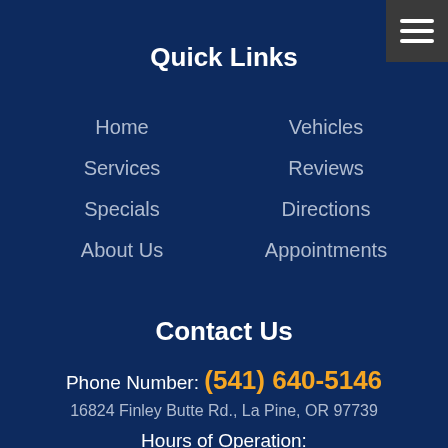Quick Links
Home
Vehicles
Services
Reviews
Specials
Directions
About Us
Appointments
Contact Us
Phone Number: (541) 640-5146
16824 Finley Butte Rd., La Pine, OR 97739
Hours of Operation:
Mon - Fri 8:00 AM - 5:00 PM